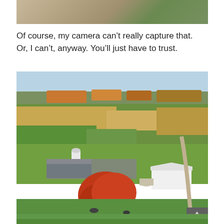[Figure (photo): Partial view of gravel/stone surface with concrete edge and green grass, top of page crop]
Of course, my camera can't really capture that. Or, I can't, anyway. You'll just have to trust.
[Figure (photo): Aerial autumn landscape showing farmland with green and golden fields, a red-leafed tree in the foreground, farm buildings including a white silo and white barn, and a tree-lined horizon under a blue sky]